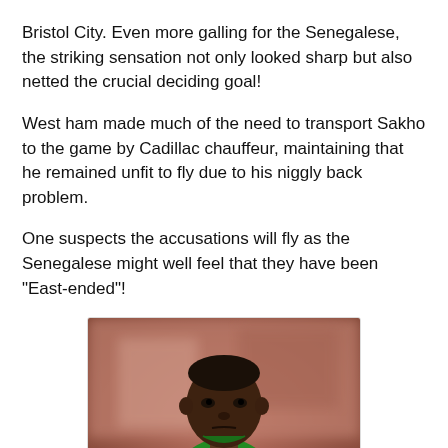Bristol City. Even more galling for the Senegalese, the striking sensation not only looked sharp but also netted the crucial deciding goal!
West ham made much of the need to transport Sakho to the game by Cadillac chauffeur, maintaining that he remained unfit to fly due to his niggly back problem.
One suspects the accusations will fly as the Senegalese might well feel that they have been "East-ended"!
[Figure (photo): A Senegalese football player wearing a green Puma jersey with the number 8 in yellow, with hands on hips, looking forward. The background shows a blurred stadium or sports venue.]